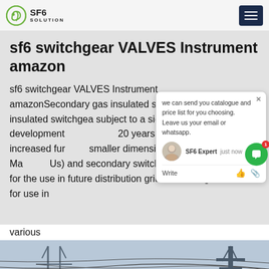SF6 SOLUTION
sf6 switchgear VALVES Instrument amazon
sf6 switchgear VALVES Instrument amazonSecondary gas insulated sw Secondary gas insulated switchgea subject to a significant development 20 years, resulting in increased fur smaller dimensions. ABB's Ring Ma Us) and secondary switchgear are prepared for the use in future distribution grids and designed for use in various
[Figure (photo): Power line infrastructure photograph showing electrical transmission towers and cables against a sky background]